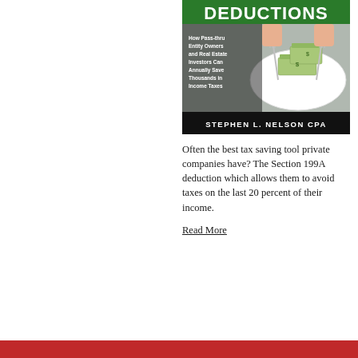[Figure (illustration): Book cover for a book about Section 199A deductions by Stephen L. Nelson CPA. Shows a green header with 'DEDUCTIONS' in white bold text, a subtitle 'How Pass-thru Entity Owners and Real Estate Investors Can Annually Save Thousands in Income Taxes', a photo of hands using forks to eat stacks of dollar bills on a white plate, and a black footer with 'STEPHEN L. NELSON CPA' in white bold text.]
Often the best tax saving tool private companies have? The Section 199A deduction which allows them to avoid taxes on the last 20 percent of their income.
Read More